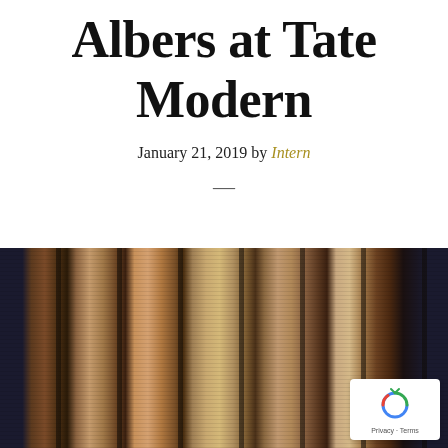Albers at Tate Modern
January 21, 2019 by Intern
—
[Figure (photo): Photograph of Josef Albers artwork showing vertical wood-grain or woven textile panels in varying shades of brown and copper tones against a dark background, displayed at Tate Modern.]